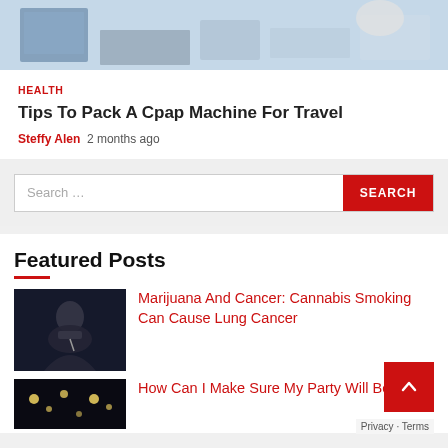[Figure (photo): Hero image showing a CPAP machine and medical equipment on a desk]
HEALTH
Tips To Pack A Cpap Machine For Travel
Steffy Alen  2 months ago
[Figure (screenshot): Search bar with input field and red SEARCH button]
Featured Posts
[Figure (photo): Photo of a person smoking, dark background]
Marijuana And Cancer: Cannabis Smoking Can Cause Lung Cancer
[Figure (photo): Partial thumbnail of second featured post]
How Can I Make Sure My Party Will Be A